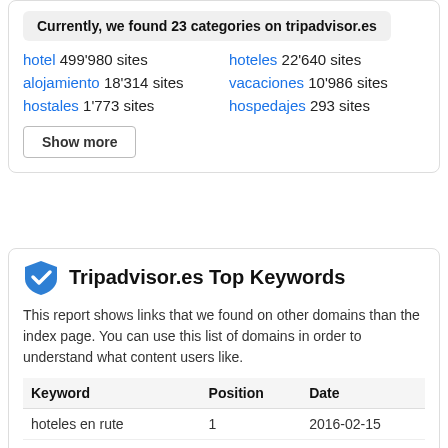Currently, we found 23 categories on tripadvisor.es
hotel 499'980 sites
hoteles 22'640 sites
alojamiento 18'314 sites
vacaciones 10'986 sites
hostales 1'773 sites
hospedajes 293 sites
Show more
Tripadvisor.es Top Keywords
This report shows links that we found on other domains than the index page. You can use this list of domains in order to understand what content users like.
| Keyword | Position | Date |
| --- | --- | --- |
| hoteles en rute | 1 | 2016-02-15 |
| don carmelo avila | 1 | 2016-02-15 |